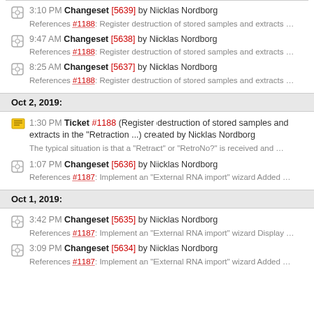3:10 PM Changeset [5639] by Nicklas Nordborg — References #1188: Register destruction of stored samples and extracts ...
9:47 AM Changeset [5638] by Nicklas Nordborg — References #1188: Register destruction of stored samples and extracts ...
8:25 AM Changeset [5637] by Nicklas Nordborg — References #1188: Register destruction of stored samples and extracts ...
Oct 2, 2019:
1:30 PM Ticket #1188 (Register destruction of stored samples and extracts in the "Retraction ...) created by Nicklas Nordborg — The typical situation is that a "Retract" or "RetroNo?" is received and ...
1:07 PM Changeset [5636] by Nicklas Nordborg — References #1187: Implement an "External RNA import" wizard Added ...
Oct 1, 2019:
3:42 PM Changeset [5635] by Nicklas Nordborg — References #1187: Implement an "External RNA import" wizard Display ...
3:09 PM Changeset [5634] by Nicklas Nordborg — References #1187: Implement an "External RNA import" wizard Added ...